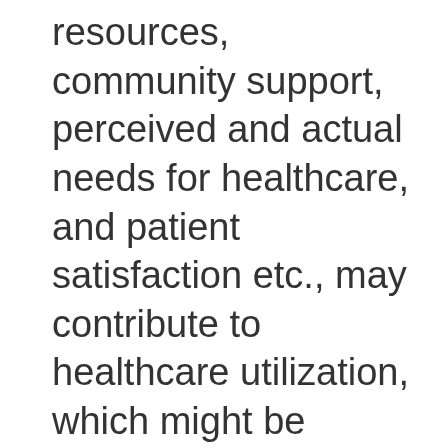resources, community support, perceived and actual needs for healthcare, and patient satisfaction etc., may contribute to healthcare utilization, which might be reflected in overall OOP payments at the individual and/or household level [1,11,14, 15]. Household characteristics, such as being headed by an elderly or